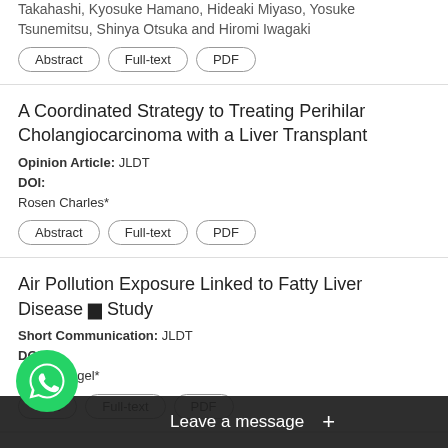Takahashi, Kyosuke Hamano, Hideaki Miyaso, Yosuke Tsunemitsu, Shinya Otsuka and Hiromi Iwagaki
Abstract | Full-text | PDF
A Coordinated Strategy to Treating Perihilar Cholangiocarcinoma with a Liver Transplant
Opinion Article: JLDT
DOI:
Rosen Charles*
Abstract | Full-text | PDF
Air Pollution Exposure Linked to Fatty Liver Disease – Study
Short Communication: JLDT
DOI:
Daniel Siegel*
Abstract | Full-text | PDF
Phy… itigate Fatty Liver Dise…